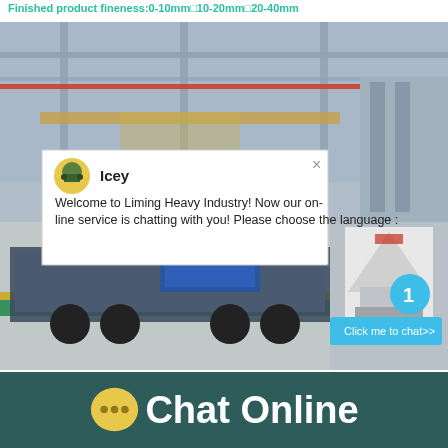Finished product fineness:0-10mm□10-20mm□20-40mm
[Figure (photo): Industrial factory floor with overhead cranes, mobile crushing equipment on truck trailer, and cone crusher machinery visible. Chat popup overlay from Liming Heavy Industry showing agent 'Icey' with message about online service.]
Chat Online